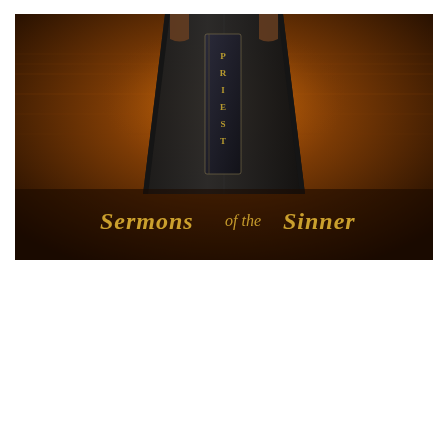[Figure (illustration): Album or book cover art showing a figure in dark robes with the word PRIEST written vertically on the robe, against a dark warm background. The text 'Sermons of the Sinner' is displayed in decorative blackletter/script font at the bottom of the image.]